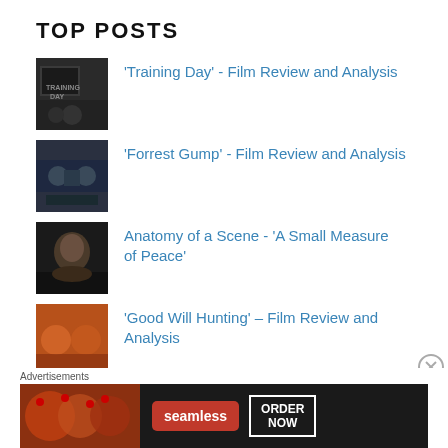TOP POSTS
'Training Day' - Film Review and Analysis
'Forrest Gump' - Film Review and Analysis
Anatomy of a Scene - 'A Small Measure of Peace'
'Good Will Hunting' – Film Review and Analysis
Advertisements
[Figure (photo): Seamless food delivery advertisement banner with pizza image, Seamless logo, and ORDER NOW button]